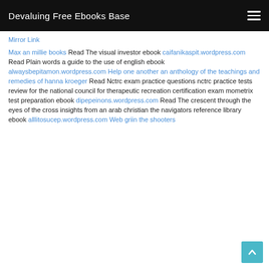Devaluing Free Ebooks Base
Mirror Link
Max an millie books Read The visual investor ebook caifanikaspit.wordpress.com Read Plain words a guide to the use of english ebook alwaysbepitamon.wordpress.com Help one another an anthology of the teachings and remedies of hanna kroeger Read Nctrc exam practice questions nctrc practice tests review for the national council for therapeutic recreation certification exam mometrix test preparation ebook dipepeinons.wordpress.com Read The crescent through the eyes of the cross insights from an arab christian the navigators reference library ebook alllitosucep.wordpress.com Web griin the shooters